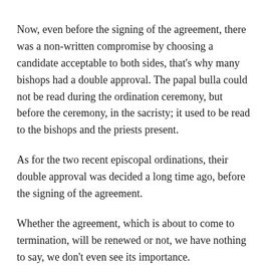Now, even before the signing of the agreement, there was a non-written compromise by choosing a candidate acceptable to both sides, that's why many bishops had a double approval. The papal bulla could not be read during the ordination ceremony, but before the ceremony, in the sacristy; it used to be read to the bishops and the priests present.
As for the two recent episcopal ordinations, their double approval was decided a long time ago, before the signing of the agreement.
Whether the agreement, which is about to come to termination, will be renewed or not, we have nothing to say, we don't even see its importance.
2) More damaging: the legitimization of seven ex-